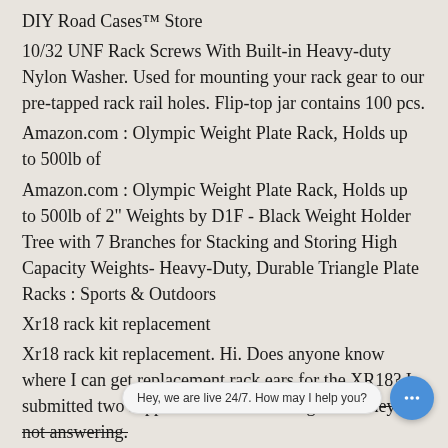DIY Road Cases™ Store
10/32 UNF Rack Screws With Built-in Heavy-duty Nylon Washer. Used for mounting your rack gear to our pre-tapped rack rail holes. Flip-top jar contains 100 pcs.
Amazon.com : Olympic Weight Plate Rack, Holds up to 500lb of
Amazon.com : Olympic Weight Plate Rack, Holds up to 500lb of 2" Weights by D1F - Black Weight Holder Tree with 7 Branches for Stacking and Storing High Capacity Weights- Heavy-Duty, Durable Triangle Plate Racks : Sports & Outdoors
Xr18 rack kit replacement
Xr18 rack kit replacement. Hi. Does anyone know where I can get replacement rack ears for the XR18? I submitted two support emails to Behringer and they're not answering.
How to Harde​r Hitting 808 Racks in Your Tracks
Aug 13, 2018 · Watch how to...